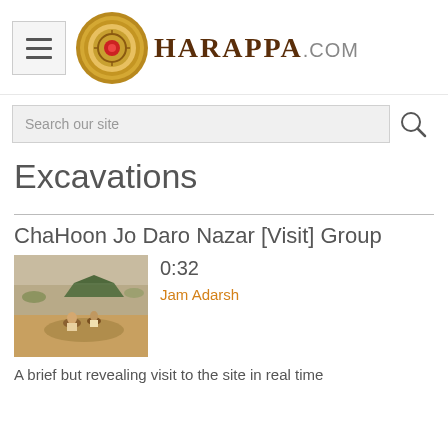HARAPPA.COM
Search our site
Excavations
ChaHoon Jo Daro Nazar [Visit] Group
[Figure (photo): Thumbnail photo of an archaeological excavation site showing workers digging in sandy terrain with a tent or tarpaulin in the background.]
0:32
Jam Adarsh
A brief but revealing visit to the site in real time